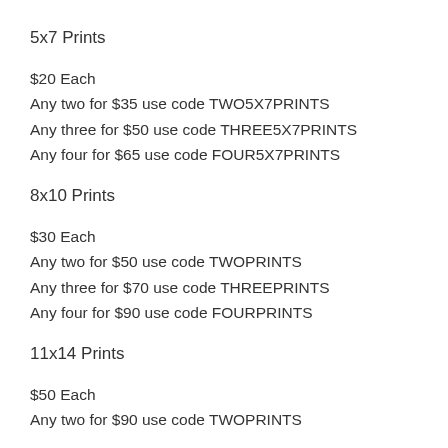5x7 Prints
$20 Each
Any two for $35 use code TWO5X7PRINTS
Any three for $50 use code THREE5X7PRINTS
Any four for $65 use code FOUR5X7PRINTS
8x10 Prints
$30 Each
Any two for $50 use code TWOPRINTS
Any three for $70 use code THREEPRINTS
Any four for $90 use code FOURPRINTS
11x14 Prints
$50 Each
Any two for $90 use code TWOPRINTS